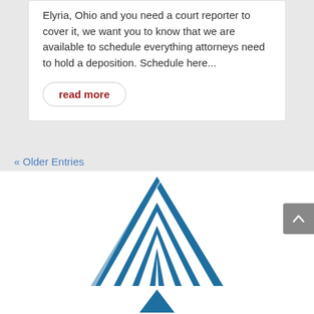Elyria, Ohio and you need a court reporter to cover it, we want you to know that we are available to schedule everything attorneys need to hold a deposition. Schedule here...
read more
« Older Entries
[Figure (logo): Cleveland Metropolitan Bar Association (CMBA) logo featuring a blue arch/bridge graphic above the letters C M B A and the full name CLEVELAND METROPOLITAN BAR ASSOCIATION in dark blue]
[Figure (logo): Partial triangle/arrow logo at bottom of page]